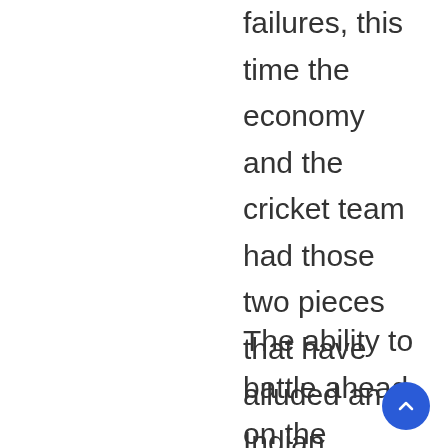failures, this time the economy and the cricket team had those two pieces that have alluded an Indian victory. Interestingly both of those pieces, whether it is the economy or the cricket team, find their roots in Gujarat.
The ability to battle ahead on the trickiest of pitches, facing the most abrasive